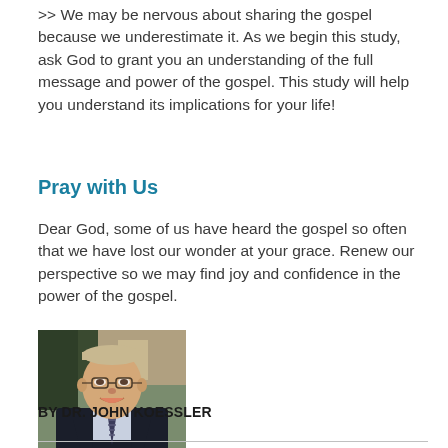>> We may be nervous about sharing the gospel because we underestimate it. As we begin this study, ask God to grant you an understanding of the full message and power of the gospel. This study will help you understand its implications for your life!
Pray with Us
Dear God, some of us have heard the gospel so often that we have lost our wonder at your grace. Renew our perspective so we may find joy and confidence in the power of the gospel.
[Figure (photo): Portrait photo of Dr. John Koessler, a middle-aged man with glasses and grey/blond hair, wearing a dark suit with a striped tie, smiling, photographed outdoors.]
BY DR. JOHN KOESSLER